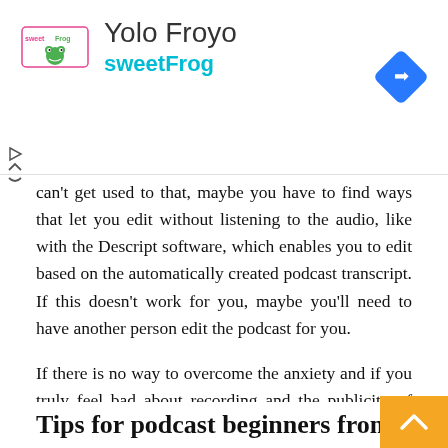[Figure (logo): sweetFrog Yolo Froyo advertisement banner with logo, brand name, navigation icon, and close/minimize controls]
can't get used to that, maybe you have to find ways that let you edit without listening to the audio, like with the Descript software, which enables you to edit based on the automatically created podcast transcript. If this doesn't work for you, maybe you'll need to have another person edit the podcast for you.
If there is no way to overcome the anxiety and if you truly feel bad about recording and the publicity of having your voice out there in the world, maybe podcasts aren't for you. Maybe you can pursue other means of sharing your thoughts, like blogging or posting text on social media.
Tips for podcast beginners from t